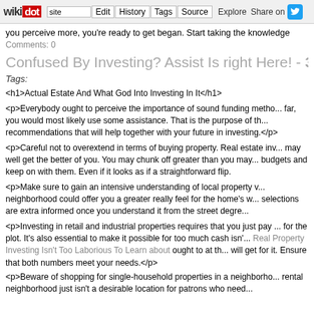wikidot | site Edit History Tags Source Explore Share on Twitter
you perceive more, you're ready to get began. Start taking the knowledge
Comments: 0
Confused By Investing? Assist Is right Here! - 30 ...
Tags:
<h1>Actual Estate And What God Into Investing In It</h1>
<p>Everybody ought to perceive the importance of sound funding metho... far, you would most likely use some assistance. That is the purpose of th... recommendations that will help together with your future in investing.</p>
<p>Careful not to overextend in terms of buying property. Real estate inv... may well get the better of you. You may chunk off greater than you may... budgets and keep on with them. Even if it looks as if a straightforward flip.
<p>Make sure to gain an intensive understanding of local property v... neighborhood could offer you a greater really feel for the home's w... selections are extra informed once you understand it from the street degre...
<p>Investing in retail and industrial properties requires that you just pay ... for the plot. It's also essential to make it possible for too much cash isn'... Real Property Investing Isn't Too Laborious To Learn about ought to at th... will get for it. Ensure that both numbers meet your needs.</p>
<p>Beware of shopping for single-household properties in a neighborho... rental neighborhood just isn't a desirable location for patrons who need...